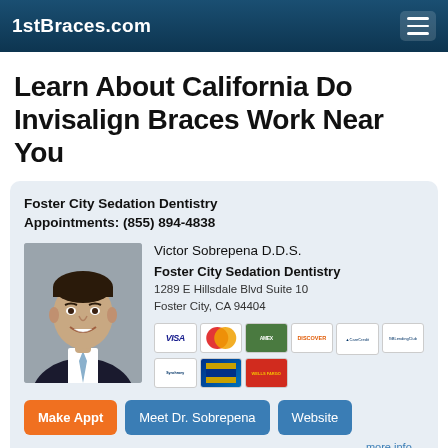1stBraces.com
Learn About California Do Invisalign Braces Work Near You
Foster City Sedation Dentistry
Appointments: (855) 894-4838
[Figure (photo): Headshot of Victor Sobrepena D.D.S., a man in a dark suit with a light blue tie, smiling]
Victor Sobrepena D.D.S.
Foster City Sedation Dentistry
1289 E Hillsdale Blvd Suite 10
Foster City, CA 94404
[Figure (other): Payment method icons: VISA, MasterCard, American Express, Discover, CareCredit, LendingClub, Synchrony, Capital One, Wells Fargo]
Make Appt   Meet Dr. Sobrepena   Website
more info ...